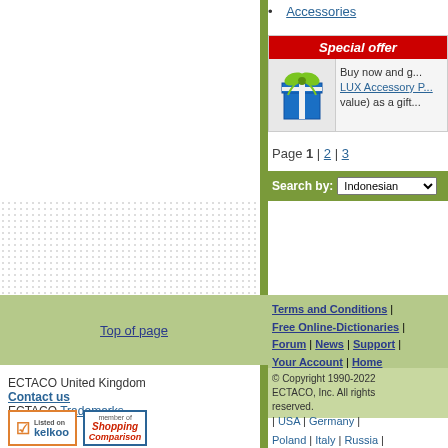Accessories
[Figure (infographic): Special offer box with gift image. Red header reading 'Special offer'. Gift box graphic on left. Text: 'Buy now and g... LUX Accessory P... value) as a gift']
Page 1 | 2 | 3
Search by: Indonesian
Top of page
Terms and Conditions | Free Online-Dictionaries | Forum | News | Support | Your Account | Home
© Copyright 1990-2022 ECTACO, Inc. All rights reserved.
ECTACO United Kingdom
Contact us
ECTACO Trademarks
[Figure (logo): Listed on kelkoo badge]
[Figure (logo): Member of Shopping Comparison badge]
| USA | Germany | Poland | Italy | Russia | Australia | Canada | Spain | Ukraine | Korea |
The Largest Collection of Free Online Translation Services
Free On-line Dictionaries
Free On-line PhraseBooks